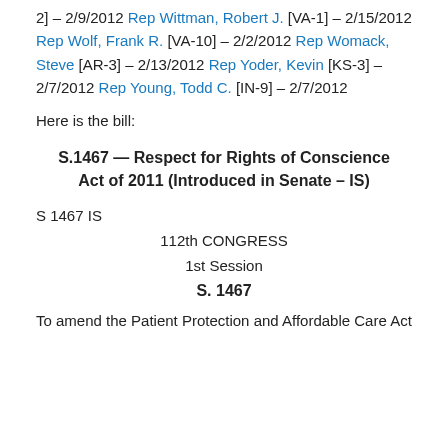2] – 2/9/2012 Rep Wittman, Robert J. [VA-1] – 2/15/2012 Rep Wolf, Frank R. [VA-10] – 2/2/2012 Rep Womack, Steve [AR-3] – 2/13/2012 Rep Yoder, Kevin [KS-3] – 2/7/2012 Rep Young, Todd C. [IN-9] – 2/7/2012
Here is the bill:
S.1467 — Respect for Rights of Conscience Act of 2011 (Introduced in Senate – IS)
S 1467 IS
112th CONGRESS
1st Session
S. 1467
To amend the Patient Protection and Affordable Care Act